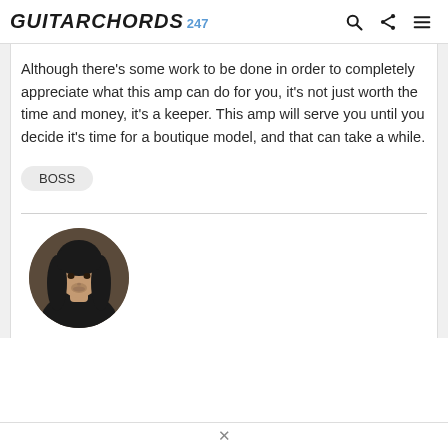GUITARCHORDS 247
Although there's some work to be done in order to completely appreciate what this amp can do for you, it's not just worth the time and money, it's a keeper. This amp will serve you until you decide it's time for a boutique model, and that can take a while.
BOSS
[Figure (photo): Circular avatar photo of a person with long dark hair]